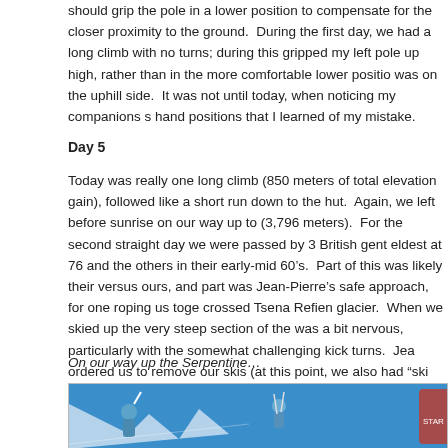should grip the pole in a lower position to compensate for the closer proximity to the ground. During the first day, we had a long climb with no turns; during this gripped my left pole up high, rather than in the more comfortable lower position was on the uphill side. It was not until today, when noticing my companions s hand positions that I learned of my mistake.
Day 5
Today was really one long climb (850 meters of total elevation gain), followed like a short run down to the hut. Again, we left before sunrise on our way up to (3,796 meters). For the second straight day we were passed by 3 British gent eldest at 76 and the others in their early-mid 60’s. Part of this was likely their versus ours, and part was Jean-Pierre’s safe approach, for one roping us toge crossed Tsena Refien glacier. When we skied up the very steep section of the was a bit nervous, particularly with the somewhat challenging kick turns. Jea ordered us to remove our skis (at this point, we also had “ski crampons” attac for extra traction), and we fastened our crampons to our boots for the final se
On our way up the Serpentine…
[Figure (photo): Photograph of skiers on a steep snowy mountain slope under a bright blue sky, with ski poles raised and equipment visible.]